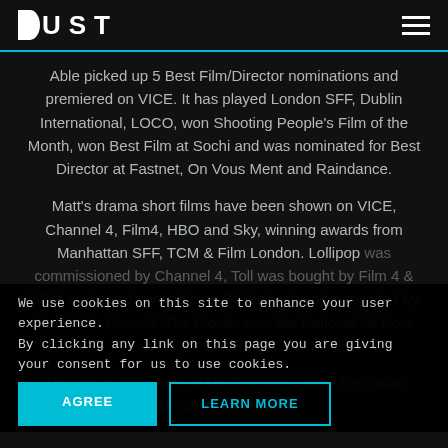DUST
Able picked up 5 Best Film/Director nominations and premiered on VICE. It has played London SFF, Dublin International, LOCO, won Shooting People's Film of the Month, won Best Film at Sochi and was nominated for Best Director at Fastnet, On Vous Ment and Raindance.
Matt's drama short films have been shown on VICE, Channel 4, Film4, HBO and Sky, winning awards from Manhattan SFF, TCM & Film London. Lollipop was commissioned by Channel 4, Toll was bought by Film 4 & HBO and was shown at over 30 festivals and supported by the British Council. The Clouds won the National 48 Hour Film Challenge.
He was [cookie overlay] in 2014 [cookie overlay] under of No Direction Home, the Soho director's community.
We use cookies on this site to enhance your user experience. By clicking any link on this page you are giving your consent for us to use cookies.